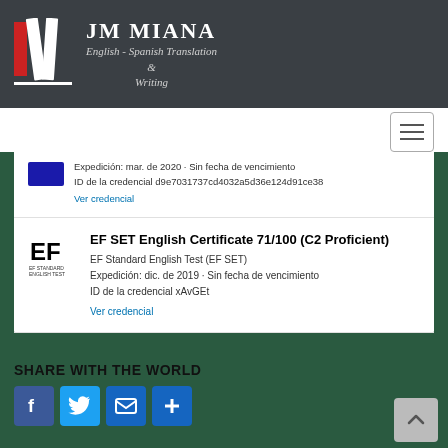JM MIANA English - Spanish Translation & Writing
Expedición: mar. de 2020 · Sin fecha de vencimiento
ID de la credencial d9e7031737cd4032a5d36e124d91ce38
Ver credencial
EF SET English Certificate 71/100 (C2 Proficient)
EF Standard English Test (EF SET)
Expedición: dic. de 2019 · Sin fecha de vencimiento
ID de la credencial xAvGEt
Ver credencial
SHARE WITH THE WORLD
[Figure (other): Social share buttons: Facebook, Twitter, Email, and plus/more button]